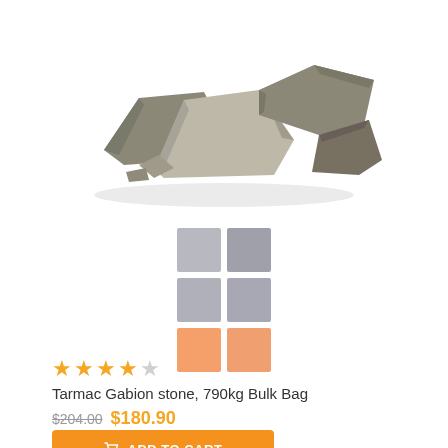[Figure (photo): A pile of rough grey/brown gabion stones on a white background]
[Figure (other): A 3x2 thumbnail grid with grey and orange/peach colored square tiles]
★★★★☆
Tarmac Gabion stone, 790kg Bulk Bag
$204.00 $180.90
ADD TO CART